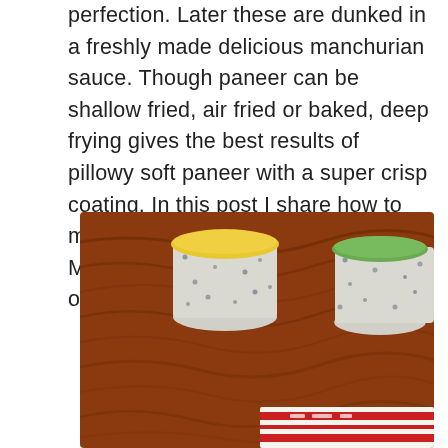perfection. Later these are dunked in a freshly made delicious manchurian sauce. Though paneer can be shallow fried, air fried or baked, deep frying gives the best results of pillowy soft paneer with a super crisp coating. In this post I share how to make restaurant style Paneer Manchurian along with no fry options.
[Figure (photo): Close-up photo of small speckled ceramic bowls or cups (one yellow-topped, one green-topped) on a wooden table with a red-brown wood grain surface. A white cloth with red pattern is partially visible at the bottom right.]